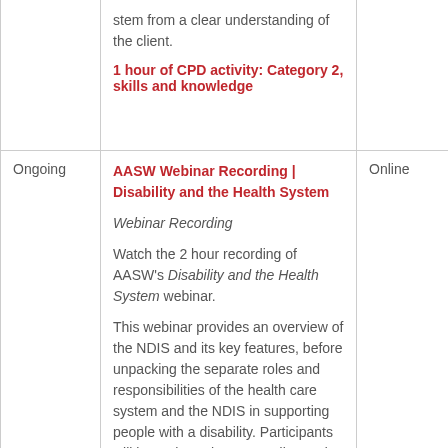| Date | Content | Location |
| --- | --- | --- |
|  | stem from a clear understanding of the client.

1 hour of CPD activity: Category 2, skills and knowledge |  |
| Ongoing | AASW Webinar Recording | Disability and the Health System

Webinar Recording

Watch the 2 hour recording of AASW's Disability and the Health System webinar.

This webinar provides an overview of the NDIS and its key features, before unpacking the separate roles and responsibilities of the health care system and the NDIS in supporting people with a disability. Participants will learn through case studies and guided activities to apply theory into practice. | Online |